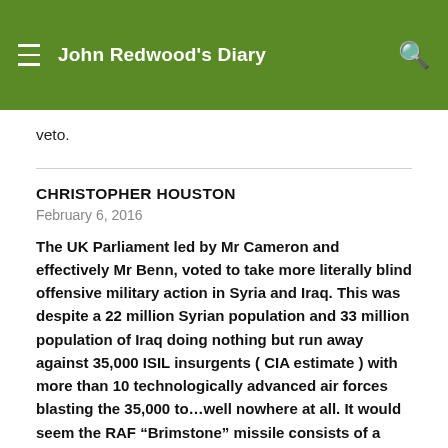John Redwood's Diary
veto.
CHRISTOPHER HOUSTON
February 6, 2016
The UK Parliament led by Mr Cameron and effectively Mr Benn, voted to take more literally blind offensive military action in Syria and Iraq. This was despite a 22 million Syrian population and 33 million population of Iraq doing nothing but run away against 35,000 ISIL insurgents ( CIA estimate ) with more than 10 technologically advanced air forces blasting the 35,000 to…well nowhere at all. It would seem the RAF “Brimstone” missile consists of a brimstone headed match, covered with silver cigarette packet foil over the red bit and